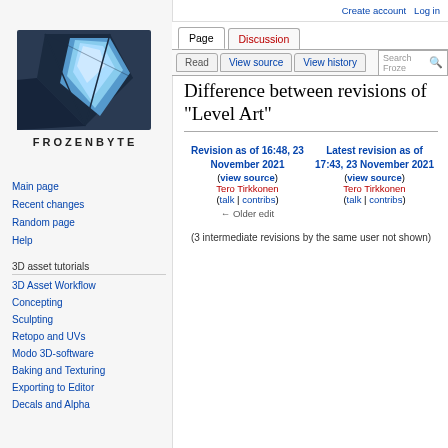Create account  Log in
[Figure (logo): Frozenbyte wiki logo: blue crystal/gem shape on dark background with FROZENBYTE text]
Main page
Recent changes
Random page
Help
3D asset tutorials
3D Asset Workflow
Concepting
Sculpting
Retopo and UVs
Modo 3D-software
Baking and Texturing
Exporting to Editor
Decals and Alpha
Difference between revisions of "Level Art"
| Revision as of 16:48, 23 November 2021 (view source) | Latest revision as of 17:43, 23 November 2021 (view source) |
| --- | --- |
| Tero Tirkkonen | Tero Tirkkonen |
| (talk | contribs) | (talk | contribs) |
| ← Older edit |  |
(3 intermediate revisions by the same user not shown)